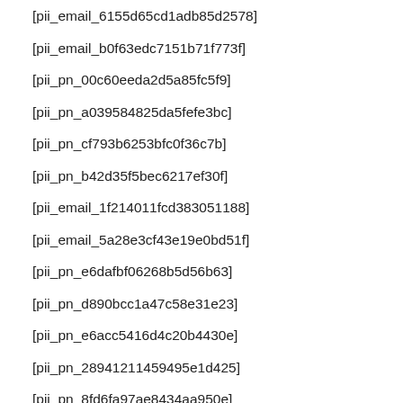[pii_email_6155d65cd1adb85d2578]
[pii_email_b0f63edc7151b71f773f]
[pii_pn_00c60eeda2d5a85fc5f9]
[pii_pn_a039584825da5fefe3bc]
[pii_pn_cf793b6253bfc0f36c7b]
[pii_pn_b42d35f5bec6217ef30f]
[pii_email_1f214011fcd383051188]
[pii_email_5a28e3cf43e19e0bd51f]
[pii_pn_e6dafbf06268b5d56b63]
[pii_pn_d890bcc1a47c58e31e23]
[pii_pn_e6acc5416d4c20b4430e]
[pii_pn_28941211459495e1d425]
[pii_pn_8fd6fa97ae8434aa950e]
[pii_pn_a9066adaffaa4b456e0f]
[pii_pn_fc6a6222de602982611a]
[pii_pn_bd2090cda0a615f69bae]